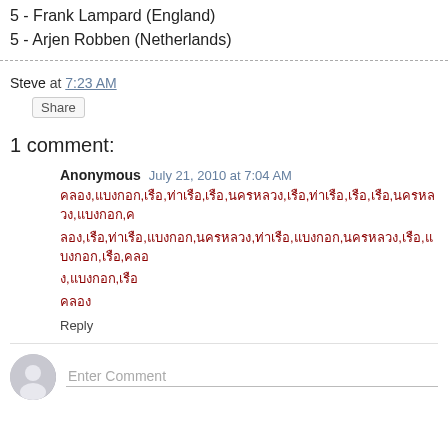5 - Frank Lampard (England)
5 - Arjen Robben (Netherlands)
Steve at 7:23 AM
Share
1 comment:
Anonymous  July 21, 2010 at 7:04 AM
comment body with non-latin characters
Reply
Enter Comment